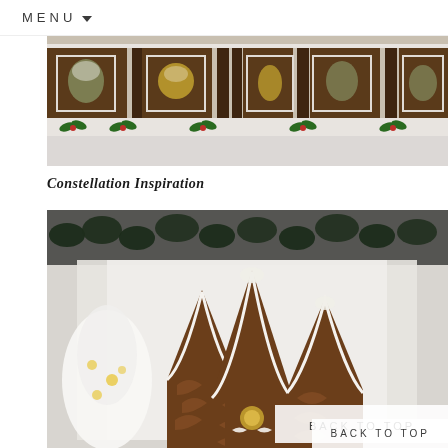MENU
[Figure (photo): Close-up overhead view of a decorated gingerbread house with chocolate brown panels, white icing details, green holly decorations, miniature snowy trees visible through windows, and gold accents.]
Constellation Inspiration
[Figure (photo): Decorated gingerbread house village with multiple pointed spire rooftops decorated with white icing scale patterns, illuminated windows, set against a blurred background of white Christmas trees and dark garland. A 'BACK TO TOP' button overlay appears in the lower right corner.]